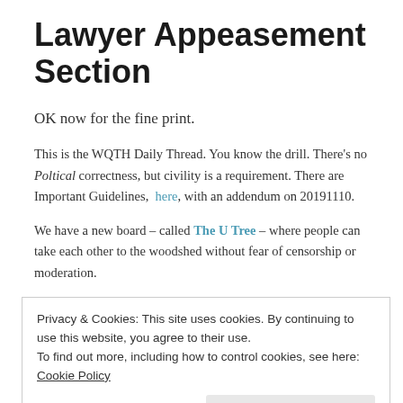Lawyer Appeasement Section
OK now for the fine print.
This is the WQTH Daily Thread. You know the drill. There’s no Poltical correctness, but civility is a requirement. There are Important Guidelines, here, with an addendum on 20191110.
We have a new board – called The U Tree – where people can take each other to the woodshed without fear of censorship or moderation.
And remember Wheatie’s Rules:
Privacy & Cookies: This site uses cookies. By continuing to use this website, you agree to their use. To find out more, including how to control cookies, see here: Cookie Policy
5a. If you actually want the gun to be loaded, like because you’re checking out